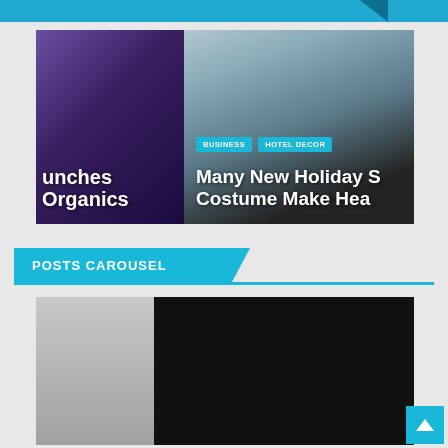[Figure (screenshot): Website page with a featured post carousel slider showing two slides: left slide has a purple-toned room interior with text 'launches Organics', right slide shows a woman and Santa Claus with badges 'BUSINESS' and 'HOTEL DECOR' and headline 'Many New Holiday S... Costume Make Hea...']
POSTS CAROUSEL
[Figure (screenshot): Posts carousel section showing two post thumbnail images side by side: left is a gray/silver image, right is a dark/black image.]